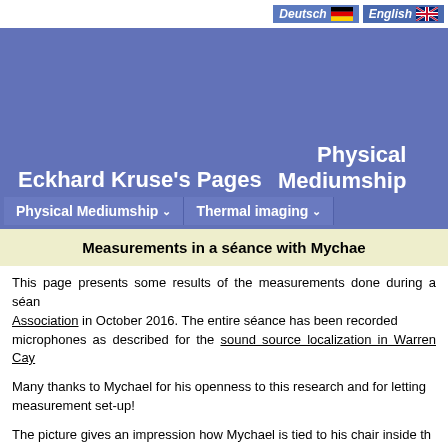Deutsch | English
Eckhard Kruse's Pages
Physical Mediumship
Physical Mediumship ∨   Thermal imaging ∨
Measurements in a séance with Mychae
This page presents some results of the measurements done during a séance with Association in October 2016. The entire séance has been recorded microphones as described for the sound source localization in Warren Cay
Many thanks to Mychael for his openness to this research and for letting measurement set-up!
The picture gives an impression how Mychael is tied to his chair inside th taped. Note, his forearms are fixed somewhat close to the elbow, becau short compared to Mychael's body size. Anyhow, the purpose of this page discussing each detail of the provisions against potential trickery, but t measurements.